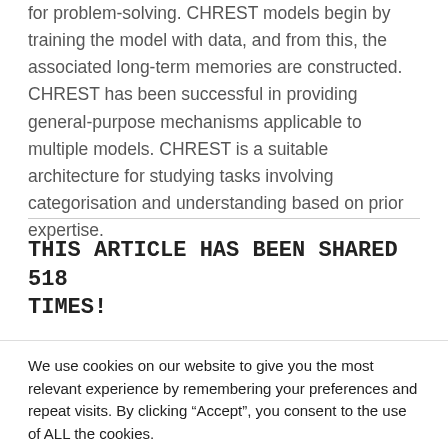for problem-solving. CHREST models begin by training the model with data, and from this, the associated long-term memories are constructed. CHREST has been successful in providing general-purpose mechanisms applicable to multiple models. CHREST is a suitable architecture for studying tasks involving categorisation and understanding based on prior expertise.
THIS ARTICLE HAS BEEN SHARED 518 TIMES!
We use cookies on our website to give you the most relevant experience by remembering your preferences and repeat visits. By clicking “Accept”, you consent to the use of ALL the cookies.
Do not sell my personal information.